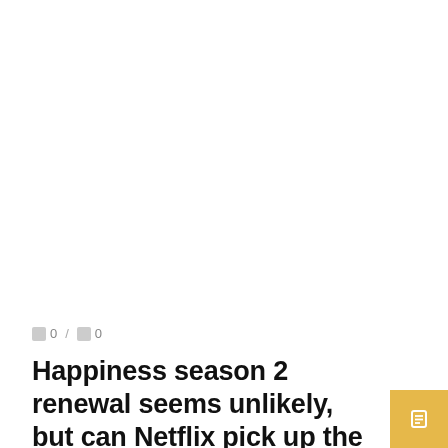[Figure (photo): Large image area (white/blank) occupying the top portion of the page]
🔲 0 / 🔲 0
Happiness season 2 renewal seems unlikely, but can Netflix pick up the K-drama for global audiences?